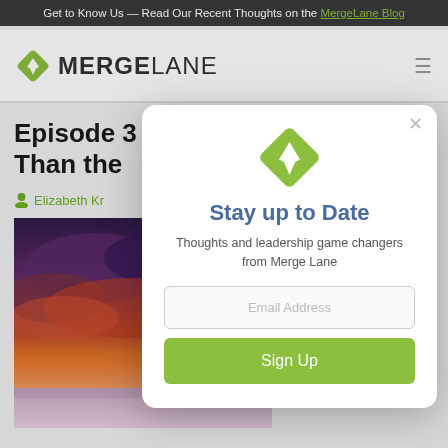Get to Know Us — Read Our Recent Thoughts on the MergeLane Blog
[Figure (logo): MergeLane logo with green diamond arrow icon and MERGELANE text]
Episode 3
Than the
Elizabeth Kr
[Figure (photo): Sunset sky with dramatic purple/orange clouds over a landscape]
[Figure (infographic): Modal popup: Stay up to Date - email signup form with MergeLane logo, subtitle 'Thoughts and leadership game changers from Merge Lane', email address field, and Sign Up button]